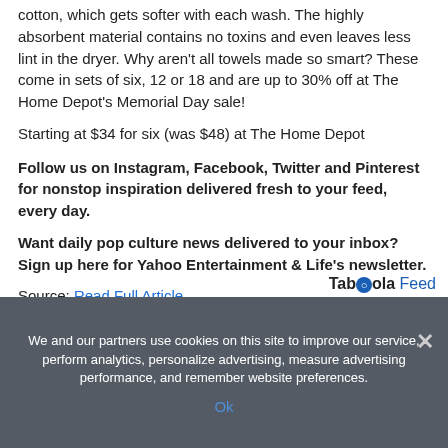cotton, which gets softer with each wash. The highly absorbent material contains no toxins and even leaves less lint in the dryer. Why aren't all towels made so smart? These come in sets of six, 12 or 18 and are up to 30% off at The Home Depot's Memorial Day sale!
Starting at $34 for six (was $48) at The Home Depot
Follow us on Instagram, Facebook, Twitter and Pinterest for nonstop inspiration delivered fresh to your feed, every day.
Want daily pop culture news delivered to your inbox? Sign up here for Yahoo Entertainment & Life's newsletter.
Source: Read Full Article
[Figure (logo): Taboola Feed logo — stylized 'Taboola' in bold with blue circle icon and 'Feed' in blue]
We and our partners use cookies on this site to improve our service, perform analytics, personalize advertising, measure advertising performance, and remember website preferences.